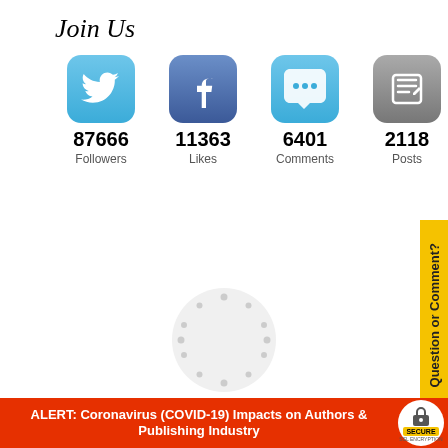Join Us
[Figure (infographic): Social media icons row: Twitter (87666 Followers), Facebook (11363 Likes), Comments bubble (6401 Comments), Pencil/Posts (2118 Posts)]
[Figure (other): Loading spinner circle with dots arranged in a circle on light gray background]
Get free access to the Directory of Literary Agents with detailed agent profiles. You'll also get access to our article and audio library with information to help you get a top agent, publisher, and book deal. You can unsubscribe easily at any time - we don't spam.
ALERT: Coronavirus (COVID-19) Impacts on Authors & Publishing Industry